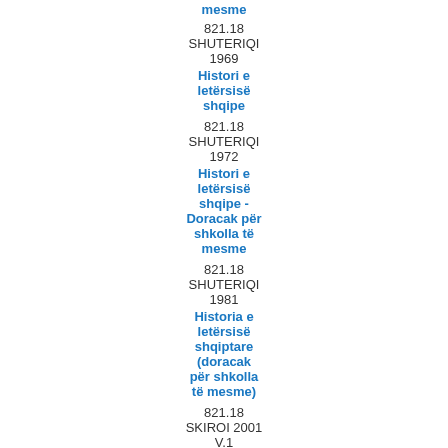mesme
821.18
SHUTERIQI
1969
Histori e letërsisë shqipe
821.18
SHUTERIQI
1972
Histori e letërsisë shqipe - Doracak për shkolla të mesme
821.18
SHUTERIQI
1981
Historia e letërsisë shqiptare (doracak për shkolla të mesme)
821.18
SKIROI 2001
V.1
Huse 1